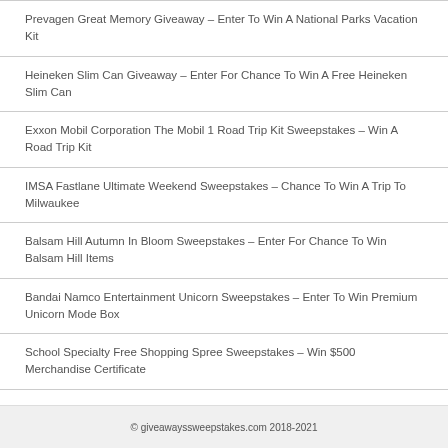Prevagen Great Memory Giveaway – Enter To Win A National Parks Vacation Kit
Heineken Slim Can Giveaway – Enter For Chance To Win A Free Heineken Slim Can
Exxon Mobil Corporation The Mobil 1 Road Trip Kit Sweepstakes – Win A Road Trip Kit
IMSA Fastlane Ultimate Weekend Sweepstakes – Chance To Win A Trip To Milwaukee
Balsam Hill Autumn In Bloom Sweepstakes – Enter For Chance To Win Balsam Hill Items
Bandai Namco Entertainment Unicorn Sweepstakes – Enter To Win Premium Unicorn Mode Box
School Specialty Free Shopping Spree Sweepstakes – Win $500 Merchandise Certificate
© giveawayssweepstakes.com 2018-2021